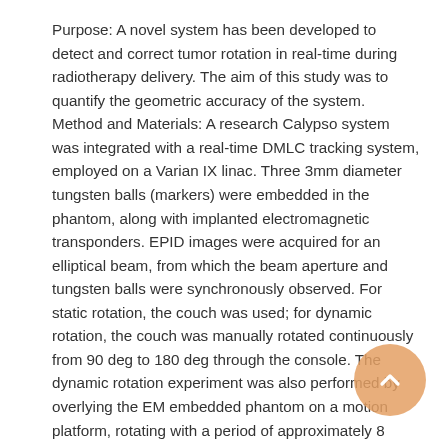Purpose: A novel system has been developed to detect and correct tumor rotation in real-time during radiotherapy delivery. The aim of this study was to quantify the geometric accuracy of the system. Method and Materials: A research Calypso system was integrated with a real-time DMLC tracking system, employed on a Varian IX linac. Three 3mm diameter tungsten balls (markers) were embedded in the phantom, along with implanted electromagnetic transponders. EPID images were acquired for an elliptical beam, from which the beam aperture and tungsten balls were synchronously observed. For static rotation, the couch was used; for dynamic rotation, the couch was manually rotated continuously from 90 deg to 180 deg through the console. The dynamic rotation experiment was also performed by overlying the EM embedded phantom on a motion platform, rotating with a period of approximately 8 seconds. For all measurements, the beam-target rotational alignment was determined as the difference between the major axis of the ellipse best fitting the rotated beam aperture and the marker orientation of the rotated target. The beam-target translation alignment was determined by the different between the beam aperture center and the geometric center of the markers. Results: For static rotation, the beam-target rotational